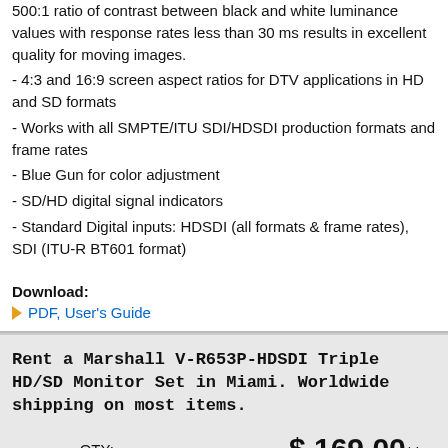500:1 ratio of contrast between black and white luminance values with response rates less than 30 ms results in excellent quality for moving images.
- 4:3 and 16:9 screen aspect ratios for DTV applications in HD and SD formats
- Works with all SMPTE/ITU SDI/HDSDI production formats and frame rates
- Blue Gun for color adjustment
- SD/HD digital signal indicators
- Standard Digital inputs: HDSDI (all formats & frame rates), SDI (ITU-R BT601 format)
Download:
PDF, User's Guide
Rent a Marshall V-R653P-HDSDI Triple HD/SD Monitor Set in Miami. Worldwide shipping on most items.
QTY:
$ 169.00/day
ADD TO QUOTE